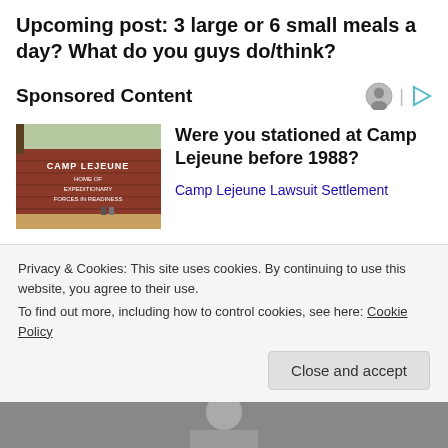Upcoming post: 3 large or 6 small meals a day? What do you guys do/think?
Sponsored Content
[Figure (photo): Camp Lejeune sign reading 'CAMP LEJEUNE HOME OF EXPEDITIONARY FORCES IN READINESS' on a brick background]
Were you stationed at Camp Lejeune before 1988?
Camp Lejeune Lawsuit Settlement
[Figure (photo): Partial photo of a person, cropped, grey tones]
Georgia city official resigns after Confederate shop reopens
Privacy & Cookies: This site uses cookies. By continuing to use this website, you agree to their use.
To find out more, including how to control cookies, see here: Cookie Policy
[Figure (photo): Bottom strip photo, partial face visible]